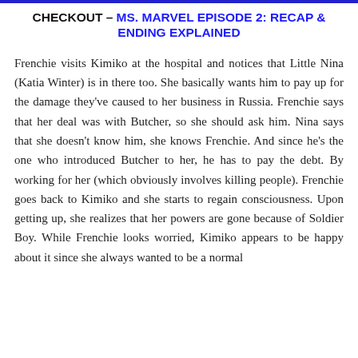CHECKOUT – MS. MARVEL EPISODE 2: RECAP & ENDING EXPLAINED
Frenchie visits Kimiko at the hospital and notices that Little Nina (Katia Winter) is in there too. She basically wants him to pay up for the damage they've caused to her business in Russia. Frenchie says that her deal was with Butcher, so she should ask him. Nina says that she doesn't know him, she knows Frenchie. And since he's the one who introduced Butcher to her, he has to pay the debt. By working for her (which obviously involves killing people). Frenchie goes back to Kimiko and she starts to regain consciousness. Upon getting up, she realizes that her powers are gone because of Soldier Boy. While Frenchie looks worried, Kimiko appears to be happy about it since she always wanted to be a normal